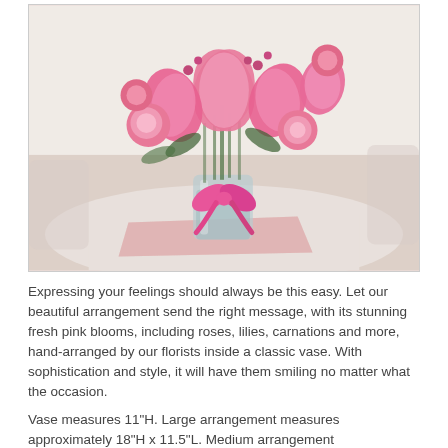[Figure (photo): A glass vase with a pink ribbon bow filled with pink flowers including roses, lilies, and carnations, sitting on a pink cloth on a white round table.]
Expressing your feelings should always be this easy. Let our beautiful arrangement send the right message, with its stunning fresh pink blooms, including roses, lilies, carnations and more, hand-arranged by our florists inside a classic vase. With sophistication and style, it will have them smiling no matter what the occasion.
Vase measures 11"H. Large arrangement measures approximately 18"H x 11.5"L. Medium arrangement